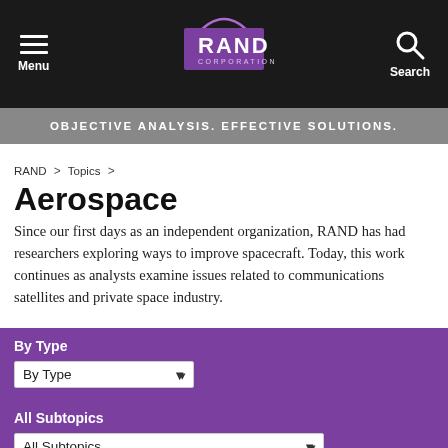Menu | RAND Corporation | Search
OBJECTIVE ANALYSIS. EFFECTIVE SOLUTIONS.
RAND > Topics >
Aerospace
Since our first days as an independent organization, RAND has had researchers exploring ways to improve spacecraft. Today, this work continues as analysts examine issues related to communications satellites and private space industry.
By Type
By Type (dropdown)
All Subtopics
All Subtopics (dropdown)